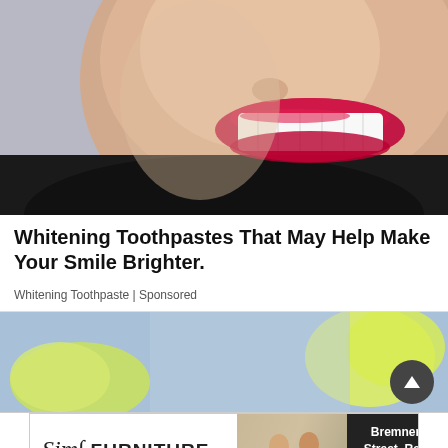[Figure (photo): Close-up photo of a woman smiling with bright white teeth and red lipstick, wearing a dark top, grey background]
Whitening Toothpastes That May Help Make Your Smile Brighter.
Whitening Toothpaste | Sponsored
[Figure (photo): Partial view of food/drink items with green and yellow tones on a blue background, second advertisement]
[Figure (photo): Sims Furniture advertisement banner showing two people sitting on a couch with text 'Bremner Street, Red Deer']